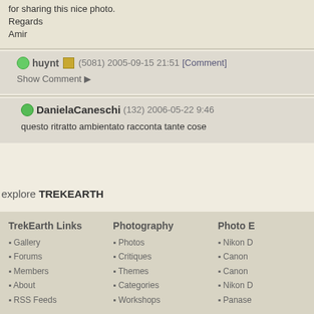for sharing this nice photo.
Regards
Amir
huynt (5081) 2005-09-15 21:51 [Comment]
Show Comment ▶
DanielaCaneschi (132) 2006-05-22 9:46
questo ritratto ambientato racconta tante cose
explore TREKEARTH
TrekEarth Links
Gallery
Forums
Members
About
RSS Feeds
Photography
Photos
Critiques
Themes
Categories
Workshops
Photo E
Nikon D
Canon
Canon
Nikon D
Panase